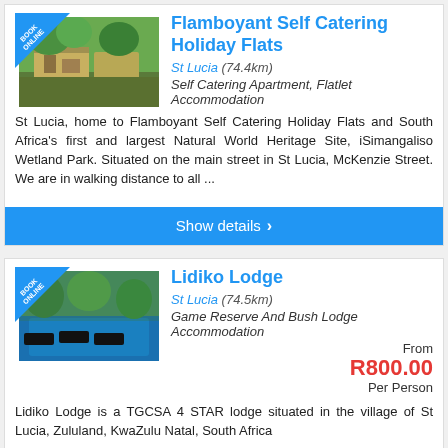[Figure (photo): Photo of Flamboyant Self Catering Holiday Flats building exterior with trees, with BOOKONLINE badge]
Flamboyant Self Catering Holiday Flats
St Lucia (74.4km)
Self Catering Apartment, Flatlet Accommodation
St Lucia, home to Flamboyant Self Catering Holiday Flats and South Africa's first and largest Natural World Heritage Site, iSimangaliso Wetland Park. Situated on the main street in St Lucia, McKenzie Street. We are in walking distance to all ...
Show details >
[Figure (photo): Photo of Lidiko Lodge pool area with loungers and tropical trees, with BOOKONLINE badge]
Lidiko Lodge
St Lucia (74.5km)
Game Reserve And Bush Lodge Accommodation
From R800.00 Per Person
Lidiko Lodge is a TGCSA 4 STAR lodge situated in the village of St Lucia, Zululand, KwaZulu Natal, South Africa